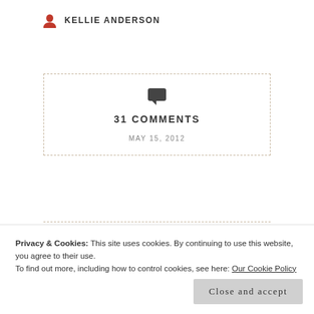KELLIE ANDERSON
31 COMMENTS
MAY 15, 2012
[Figure (photo): Food photo showing what appears to be eggs and vegetables on a plate]
Privacy & Cookies: This site uses cookies. By continuing to use this website, you agree to their use.
To find out more, including how to control cookies, see here: Our Cookie Policy
Close and accept